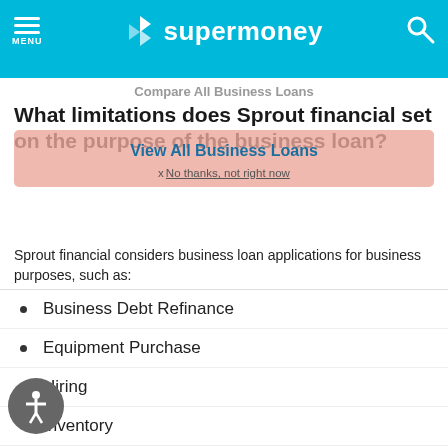MENU | supermoney | [search]
Compare All Business Loans
What limitations does Sprout financial set on the purpose of the business loan?
[Figure (screenshot): Popup overlay with 'View All Business Loans' button and 'x No thanks, not right now' dismiss link, pink/salmon colored background]
Sprout financial considers business loan applications for business purposes, such as:
Business Debt Refinance
Equipment Purchase
Hiring
Inventory
Lease Improvement
New Location
Payroll
Product or Service Expansion
Technology Investment